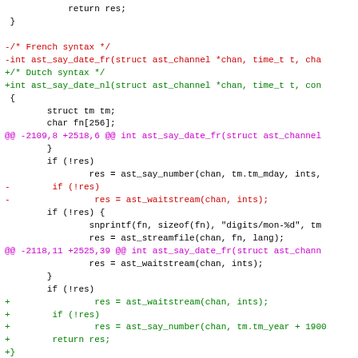[Figure (screenshot): A code diff view showing a git patch for an Asterisk source file. The diff shows changes replacing French date syntax with Dutch syntax (ast_say_date_fr replaced by ast_say_date_nl), with removed lines in red, added lines in green, and diff hunk headers in magenta.]